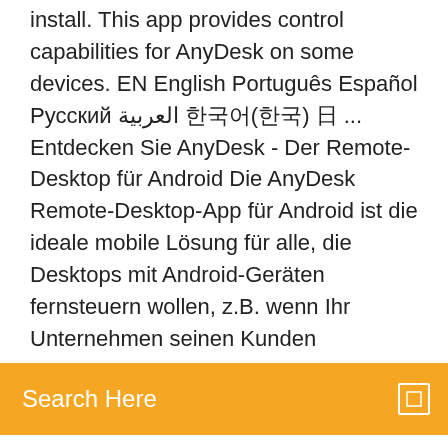install. This app provides control capabilities for AnyDesk on some devices. EN English Português Español Русский العربية 한국어(한국) 日 ... Entdecken Sie AnyDesk - Der Remote-Desktop für Android Die AnyDesk Remote-Desktop-App für Android ist die ideale mobile Lösung für alle, die Desktops mit Android-Geräten fernsteuern wollen, z.B. wenn Ihr Unternehmen seinen Kunden
[Figure (screenshot): Orange search bar with text 'Search Here' and a small square icon on the right]
most affordable Remote Control Software in the world! Access your devices on all platforms: Windows, macOS, Linux, Android and iOS. Download the latest AnyDesk version here: https://anydesk.com AnyDesk Software GmbH AnyDesk Remote Control 5.5.6 (Android 4.4+) APK Safe to Download This APK com.anydesk.anydeskandroid_5.5.6-50506_minAPI19(arm64-v8a,armeabi-v7a,x86,x86_64)(nodpi)_apkmirror.com.apk is signed by AnyDesk Software GmbH ... AnyDesk Android 앱 5.5.6 APK 다운로드 및 설치 AnyDesk 앱은 최고의 원격 데 KR English Português Español Русский العربية 한국어(한국) 日(日)